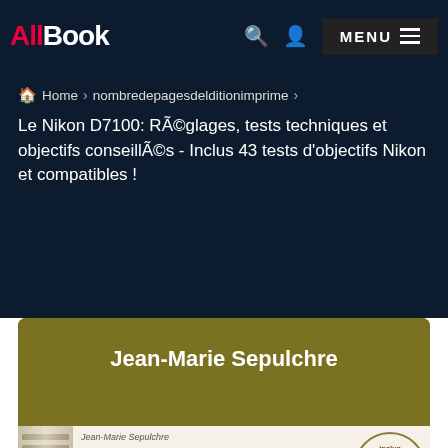[Figure (logo): AllBook logo with 'All' in red and 'Book' in white on dark navy background]
MENU
Home > nombredepagesdelditionimprime >
Le Nikon D7100: Réglages, tests techniques et objectifs conseillés - Inclus 43 tests d'objectifs Nikon et compatibles !
Jean-Marie Sepulchre
[Figure (photo): Book cover showing Jean-Marie Sepulchre author name, a Nikon D7100 camera, and a badge reading 'inclus 43 tests d'objectifs Nikon et compatibles']